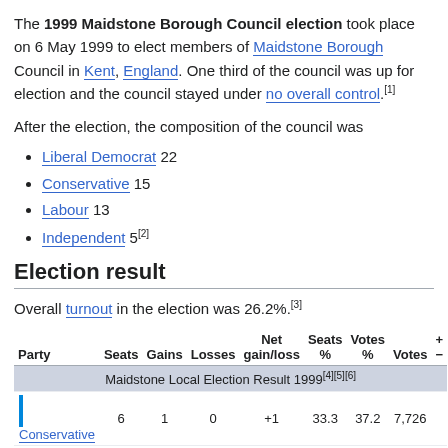The 1999 Maidstone Borough Council election took place on 6 May 1999 to elect members of Maidstone Borough Council in Kent, England. One third of the council was up for election and the council stayed under no overall control.[1]
After the election, the composition of the council was
Liberal Democrat 22
Conservative 15
Labour 13
Independent 5[2]
Election result
Overall turnout in the election was 26.2%.[3]
| Party | Seats | Gains | Losses | Net gain/loss | Seats % | Votes % | Votes | +/- |
| --- | --- | --- | --- | --- | --- | --- | --- | --- |
| Conservative | 6 | 1 | 0 | +1 | 33.3 | 37.2 | 7,726 |  |
| Liberal Democrats | 6 | 0 | 0 | 0 | 33.3 | 32.4 | 6,740 |  |